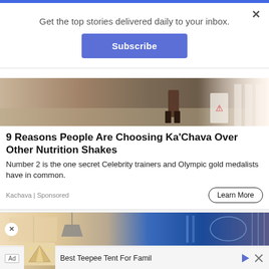Get the top stories delivered daily to your inbox.
Subscribe
9 Reasons People Are Choosing Ka'Chava Over Other Nutrition Shakes
Number 2 is the one secret Celebrity trainers and Olympic gold medalists have in common.
Kachava | Sponsored
Learn More
[Figure (photo): Advertisement image showing outdoor scene with sandy ground and a person's legs/feet visible, and a container in the background]
[Figure (photo): Advertisement strip showing interior room on left side and blue background with geometric shapes on right side]
Ad  Best Teepee Tent For Famil